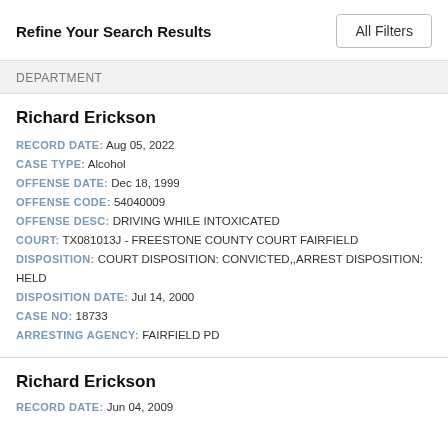Refine Your Search Results
All Filters
DEPARTMENT
Richard Erickson
RECORD DATE: Aug 05, 2022
CASE TYPE: Alcohol
OFFENSE DATE: Dec 18, 1999
OFFENSE CODE: 54040009
OFFENSE DESC: DRIVING WHILE INTOXICATED
COURT: TX081013J - FREESTONE COUNTY COURT FAIRFIELD
DISPOSITION: COURT DISPOSITION: CONVICTED,,ARREST DISPOSITION: HELD
DISPOSITION DATE: Jul 14, 2000
CASE NO: 18733
ARRESTING AGENCY: FAIRFIELD PD
Richard Erickson
RECORD DATE: Jun 04, 2009